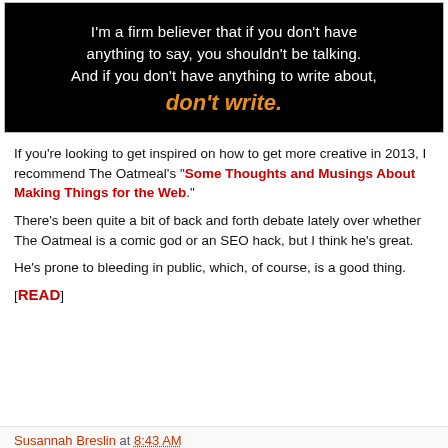[Figure (illustration): Black background image with white handwritten-style text reading: "I'm a firm believer that if you don't have anything to say, you shouldn't be talking. And if you don't have anything to write about," followed by orange italic bold text: "don't write."]
If you're looking to get inspired on how to get more creative in 2013, I recommend The Oatmeal's "Some Thoughts and Musings About Making Things for the Web."
There's been quite a bit of back and forth debate lately over whether The Oatmeal is a comic god or an SEO hack, but I think he's great.
He's prone to bleeding in public, which, of course, is a good thing.
[READ]
Susannah Breslin at 8:43 AM